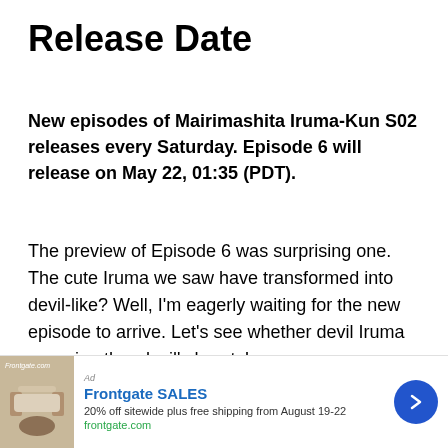Release Date
New episodes of Mairimashita Iruma-Kun S02 releases every Saturday. Episode 6 will release on May 22, 01:35 (PDT).
The preview of Episode 6 was surprising one. The cute Iruma we saw have transformed into devil-like? Well, I'm eagerly waiting for the new episode to arrive. Let's see whether devil Iruma can win other devil's hearts!
#welcome to demon school! iruma-kun
[Figure (other): Advertisement banner for Frontgate SALES: 20% off sitewide plus free shipping from August 19-22. frontgate.com. Shows outdoor furniture photo and blue arrow button.]